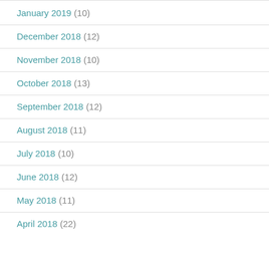January 2019 (10)
December 2018 (12)
November 2018 (10)
October 2018 (13)
September 2018 (12)
August 2018 (11)
July 2018 (10)
June 2018 (12)
May 2018 (11)
April 2018 (22)